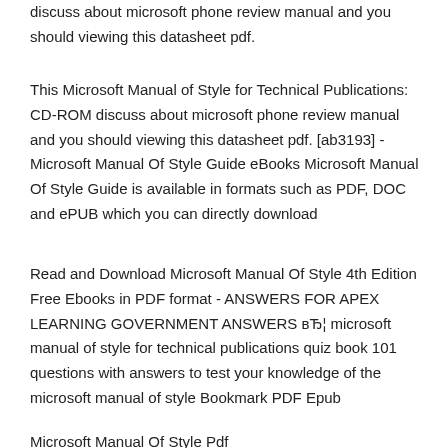discuss about microsoft phone review manual and you should viewing this datasheet pdf.
This Microsoft Manual of Style for Technical Publications: CD-ROM discuss about microsoft phone review manual and you should viewing this datasheet pdf. [ab3193] - Microsoft Manual Of Style Guide eBooks Microsoft Manual Of Style Guide is available in formats such as PDF, DOC and ePUB which you can directly download
Read and Download Microsoft Manual Of Style 4th Edition Free Ebooks in PDF format - ANSWERS FOR APEX LEARNING GOVERNMENT ANSWERS вЂ¦ microsoft manual of style for technical publications quiz book 101 questions with answers to test your knowledge of the microsoft manual of style Bookmark PDF Epub
Microsoft Manual Of Style Pdf